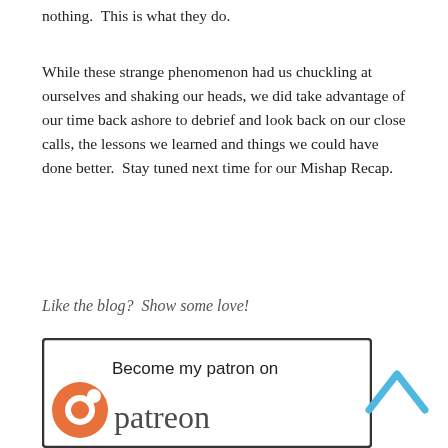nothing.  This is what they do.
While these strange phenomenon had us chuckling at ourselves and shaking our heads, we did take advantage of our time back ashore to debrief and look back on our close calls, the lessons we learned and things we could have done better.  Stay tuned next time for our Mishap Recap.
Like the blog?  Show some love!
[Figure (logo): Patreon logo banner with text 'Become my patron on patreon' and orange Patreon circular logo mark]